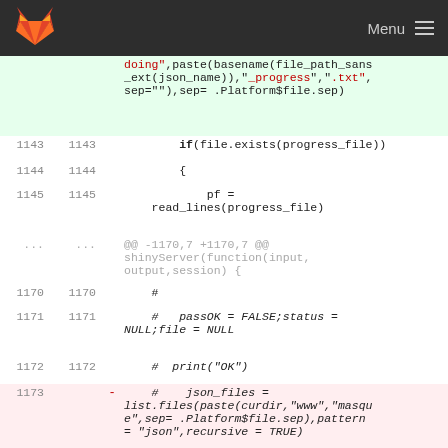GitLab — Menu
doing",paste(basename(file_path_sans_ext(json_name)),"_progress",".txt",sep=""),sep= .Platform$file.sep)
1143  1143      if(file.exists(progress_file))
1144  1144      {
1145  1145          pf = read_lines(progress_file)
...   ...   @@ -1170,7 +1170,7 @@ shinyServer(function(input,output,session) {
1170  1170      #
1171  1171      #   passOK = FALSE;status = NULL;file = NULL
1172  1172      #  print("OK")
1173  -   #    json_files = list.files(paste(curdir,"www","masque",sep= .Platform$file.sep),pattern = "json",recursive = TRUE)
1173  +   #    json_files = list.files(paste(values$curdir,"www"